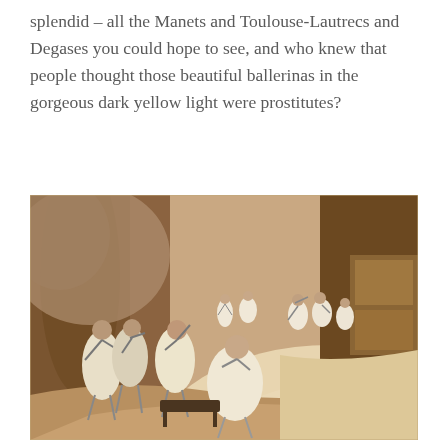splendid – all the Manets and Toulouse-Lautrecs and Degases you could hope to see, and who knew that people thought those beautiful ballerinas in the gorgeous dark yellow light were prostitutes?
[Figure (illustration): A Degas-style painting depicting ballerinas rehearsing on a stage. Multiple dancers in white tutus are shown in various poses. The scene is rendered in warm sepia/golden tones with a dark backdrop and wooden stage floor curving to the right.]